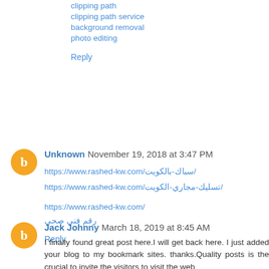clipping path
clipping path service
background removal
photo editing
Reply
Unknown  November 19, 2018 at 3:47 PM
https://www.rashed-kw.com/سباك-بالكويت/
https://www.rashed-kw.com/تسليك-مجاري-الكويت/
https://www.rashed-kw.com/
رقم فني صحي
Reply
Jack Johnny  March 18, 2019 at 8:45 AM
I finally found great post here.I will get back here. I just added your blog to my bookmark sites. thanks.Quality posts is the crucial to invite the visitors to visit the web